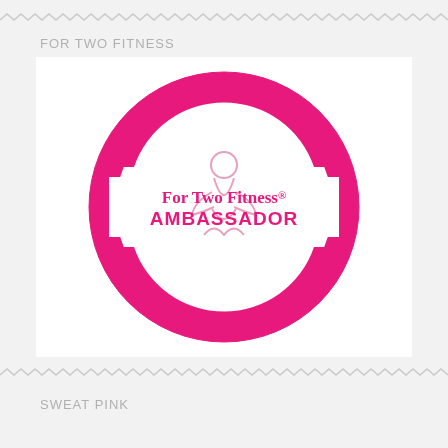[Figure (illustration): Zigzag/wavy decorative border line at top of page]
FOR TWO FITNESS
[Figure (logo): For Two Fitness Ambassador badge — a circular pink and white badge reading 'ENDORSED ATHLETE' along the top arc, 'For Two Fitness® AMBASSADOR' across the center banner, and 'FIT MOM EXPERT' along the bottom arc, with a line-art pregnant yoga figure in the center]
[Figure (illustration): Zigzag/wavy decorative border line between sections]
SWEAT PINK